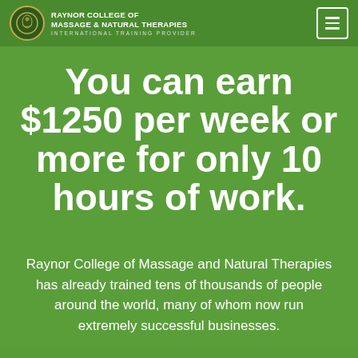RAYNOR COLLEGE OF MASSAGE & NATURAL THERAPIES — INTERNATIONAL TRAINING PROVIDER
You can earn $1250 per week or more for only 10 hours of work.
Raynor College of Massage and Natural Therapies has already trained tens of thousands of people around the world, many of whom now run extremely successful businesses.